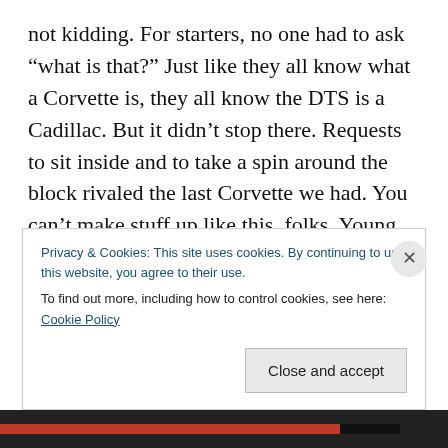not kidding. For starters, no one had to ask “what is that?” Just like they all know what a Corvette is, they all know the DTS is a Cadillac. But it didn’t stop there. Requests to sit inside and to take a spin around the block rivaled the last Corvette we had. You can’t make stuff up like this, folks. Young and old, guys and girls, they all wanted to check out the big Caddy. Once inside, they were amazed by the space. The air-conditioned seats. The massage chairs. The smell of the leather – that distinctive Cadillac leather smell. They loved the whole nine yards. We’d let them fire it up, and when the Northstar V8 rumbled to life, more than
Privacy & Cookies: This site uses cookies. By continuing to use this website, you agree to their use.
To find out more, including how to control cookies, see here: Cookie Policy
Close and accept